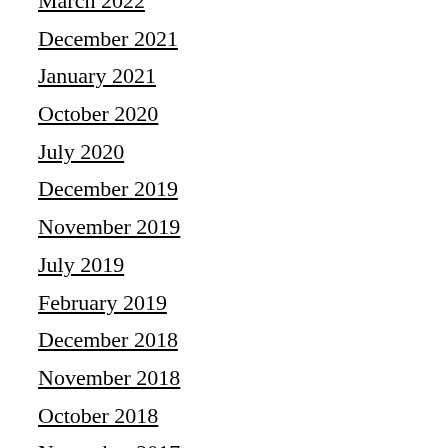March 2022
December 2021
January 2021
October 2020
July 2020
December 2019
November 2019
July 2019
February 2019
December 2018
November 2018
October 2018
November 2017
October 2017
September 2017
October 2016